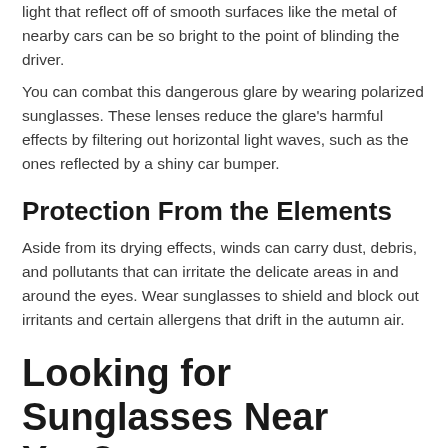light that reflect off of smooth surfaces like the metal of nearby cars can be so bright to the point of blinding the driver.
You can combat this dangerous glare by wearing polarized sunglasses. These lenses reduce the glare's harmful effects by filtering out horizontal light waves, such as the ones reflected by a shiny car bumper.
Protection From the Elements
Aside from its drying effects, winds can carry dust, debris, and pollutants that can irritate the delicate areas in and around the eyes. Wear sunglasses to shield and block out irritants and certain allergens that drift in the autumn air.
Looking for Sunglasses Near You?
Here's the bottom line: you need to protect your eyes by wearing sunglasses in the fall and year-round, no matter the season or climate. Investing in a stylish pair of durable, UV-protective sunglasses that also keep your eyes shielded is the smart move.